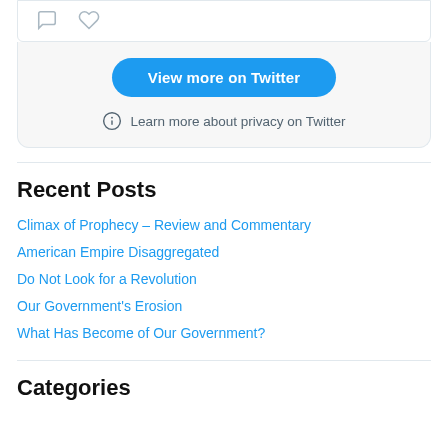[Figure (screenshot): Twitter embedded widget showing tweet action icons (comment bubble and heart/like icon) on white background with light border]
[Figure (screenshot): Twitter embed footer with blue 'View more on Twitter' button and 'Learn more about privacy on Twitter' text with info icon, on light gray background]
Recent Posts
Climax of Prophecy – Review and Commentary
American Empire Disaggregated
Do Not Look for a Revolution
Our Government's Erosion
What Has Become of Our Government?
Categories